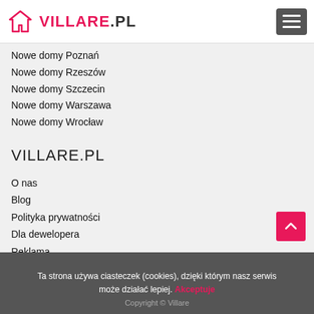VILLARE.PL
Nowe domy Poznań
Nowe domy Rzeszów
Nowe domy Szczecin
Nowe domy Warszawa
Nowe domy Wrocław
VILLARE.PL
O nas
Blog
Polityka prywatności
Dla dewelopera
Reklama
Kontakt
Ta strona używa ciasteczek (cookies), dzięki którym nasz serwis może działać lepiej. Akceptuje
Copyright © Villare